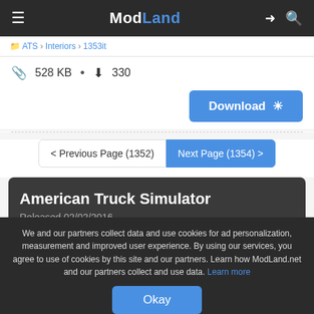ModLand
ATS › Interiors › 1353it
528 KB · 330
Download
< Previous Page (1352)   Next Page (1354) >
American Truck Simulator
Released 02/02/2016
We and our partners collect data and use cookies for ad personalization, measurement and improved user experience. By using our services, you agree to use of cookies by this site and our partners. Learn how ModLand.net and our partners collect and use data. Learn more
Okay